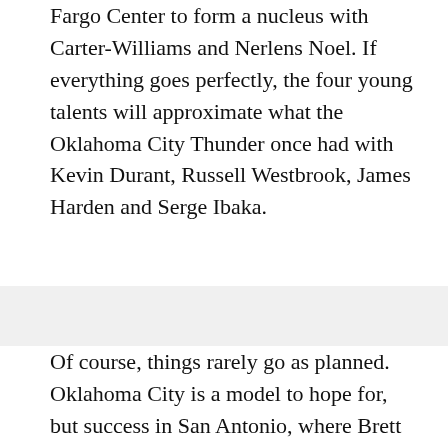Fargo Center to form a nucleus with Carter-Williams and Nerlens Noel. If everything goes perfectly, the four young talents will approximate what the Oklahoma City Thunder once had with Kevin Durant, Russell Westbrook, James Harden and Serge Ibaka.
Of course, things rarely go as planned. Oklahoma City is a model to hope for, but success in San Antonio, where Brett Brown honed his craft for years, could be a more appropriate way of modeling a franchise.
Armed with a whopping five second round picks, the Sixers can own a portion of the draft that only die hard fans truly pay attention to on a yearly basis. For